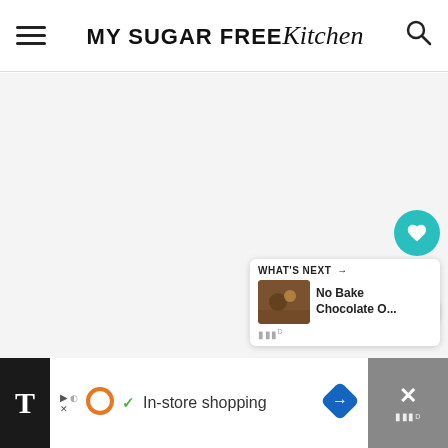MY SUGAR FREE Kitchen
[Figure (screenshot): Empty light gray content area of the My Sugar Free Kitchen website]
[Figure (infographic): Social sharing sidebar with heart/like button showing 443 likes and a share button]
[Figure (infographic): What's Next panel showing No Bake Chocolate O... with thumbnail]
[Figure (infographic): Advertisement bar at bottom showing In-store shopping ad with icons]